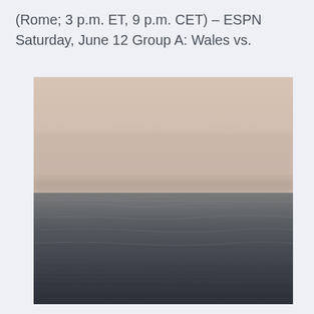(Rome; 3 p.m. ET, 9 p.m. CET) – ESPN Saturday, June 12 Group A: Wales vs.
[Figure (photo): A misty, atmospheric landscape photograph showing a body of water in the foreground with dark choppy water, transitioning to a foggy horizon with a faint treeline barely visible through the haze, and a pale pinkish-beige sky above.]